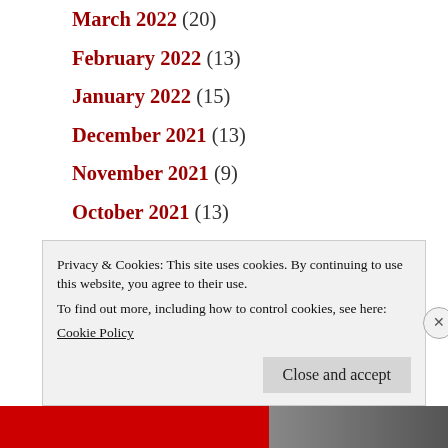March 2022 (20)
February 2022 (13)
January 2022 (15)
December 2021 (13)
November 2021 (9)
October 2021 (13)
September 2021 (18)
August 2021 (17)
July 2021 (9)
Privacy & Cookies: This site uses cookies. By continuing to use this website, you agree to their use.
To find out more, including how to control cookies, see here:
Cookie Policy
Close and accept